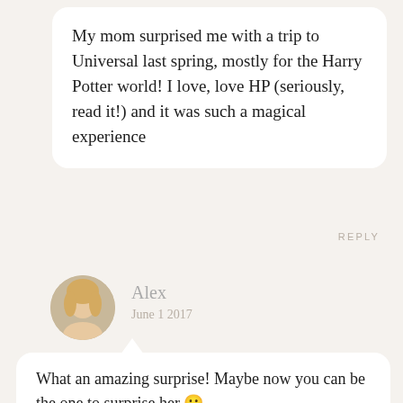My mom surprised me with a trip to Universal last spring, mostly for the Harry Potter world! I love, love HP (seriously, read it!) and it was such a magical experience
REPLY
[Figure (photo): Circular avatar photo of Alex, a woman with blonde hair, smiling]
Alex
June 1 2017
What an amazing surprise! Maybe now you can be the one to surprise her 🙂
REPLY
[Figure (photo): Square photo of Ashley Smith, a woman with long blonde hair]
Ashley Smith
May 29 2017